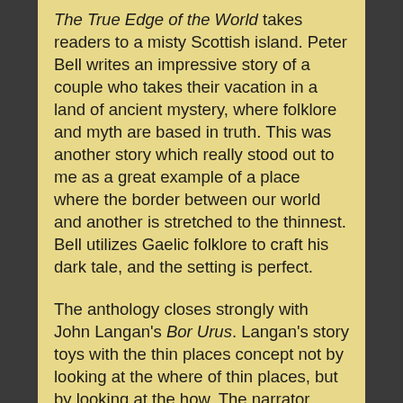The True Edge of the World takes readers to a misty Scottish island. Peter Bell writes an impressive story of a couple who takes their vacation in a land of ancient mystery, where folklore and myth are based in truth. This was another story which really stood out to me as a great example of a place where the border between our world and another is stretched to the thinnest. Bell utilizes Gaelic folklore to craft his dark tale, and the setting is perfect.
The anthology closes strongly with John Langan's Bor Urus. Langan's story toys with the thin places concept not by looking at the where of thin places, but by looking at the how. The narrator becomes fixated with the idea that the chaos of thunderstorms is when the wall between worlds is breached, and this is when it's possible to glimpse or even cross over into this other place. The narrator has a few experiences and as he grows so does his fixation. After one near encounter he becomes a different man, until a